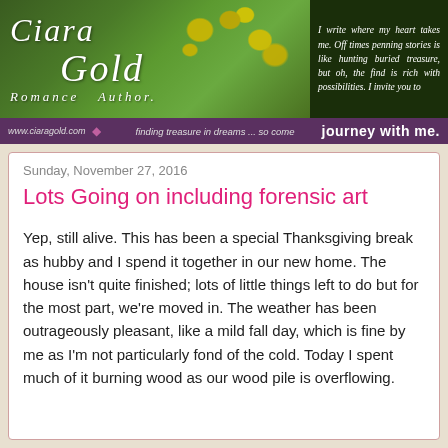[Figure (illustration): Ciara Gold Romance Author blog banner with floral background, script text logo, and tagline bar reading 'finding treasure in dreams... so come journey with me.']
Sunday, November 27, 2016
Lots Going on including forensic art
Yep, still alive. This has been a special Thanksgiving break as hubby and I spend it together in our new home. The house isn't quite finished; lots of little things left to do but for the most part, we're moved in. The weather has been outrageously pleasant, like a mild fall day, which is fine by me as I'm not particularly fond of the cold. Today I spent much of it burning wood as our wood pile is overflowing.